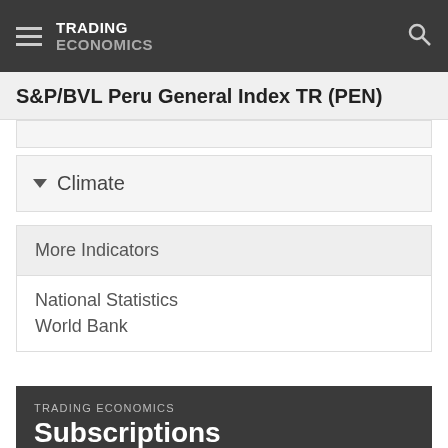TRADING ECONOMICS
S&P/BVL Peru General Index TR (PEN)
Climate
More Indicators
National Statistics
World Bank
TRADING ECONOMICS Subscriptions We have a plan for your needs. Standard users